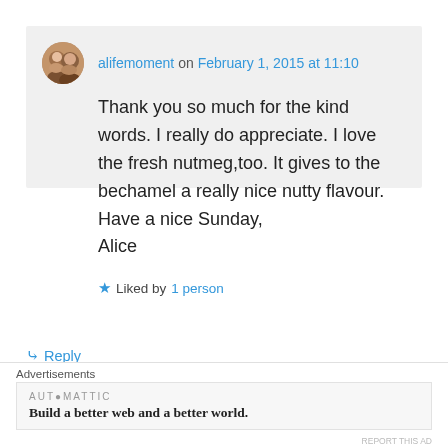alifemoment on February 1, 2015 at 11:10
Thank you so much for the kind words. I really do appreciate. I love the fresh nutmeg,too. It gives to the bechamel a really nice nutty flavour.
Have a nice Sunday,
Alice
Liked by 1 person
Reply
[Figure (screenshot): Partially visible next comment preview with avatar icon]
Advertisements
AUTOMATTIC
Build a better web and a better world.